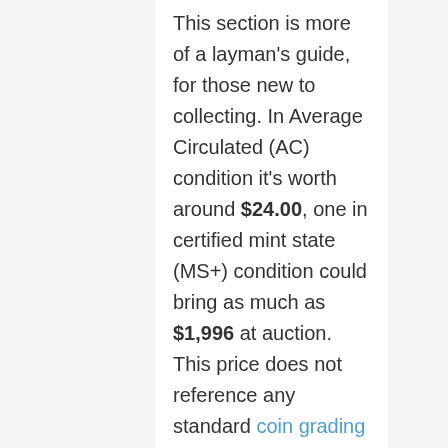This section is more of a layman's guide, for those new to collecting. In Average Circulated (AC) condition it's worth around $24.00, one in certified mint state (MS+) condition could bring as much as $1,996 at auction. This price does not reference any standard coin grading scale. So when we say Average Circulated, we mean in a similar condition to other coins circulated in 1877, and mint state meaning it is certified MS+ by one of the top coin grading companies. *** [?].
If you are a fan of coin roll hunting or just want to learn more about Liberty Seated Quarters then search or scroll below to find the most valuable and